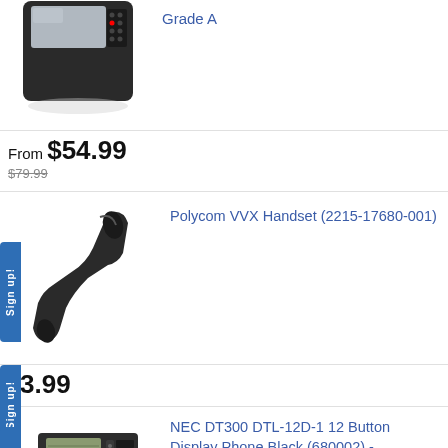[Figure (photo): Partial view of a business desk phone (top cropped), black color]
Grade A
From $54.99
$79.99 (strikethrough)
[Figure (photo): Polycom VVX handset receiver, black, angled]
Polycom VVX Handset (2215-17680-001)
3.99 (partial price, cropped)
[Figure (photo): NEC DT300 DTL-12D-1 12 Button Display Phone Black on stand]
NEC DT300 DTL-12D-1 12 Button Display Phone Black (680002) -.